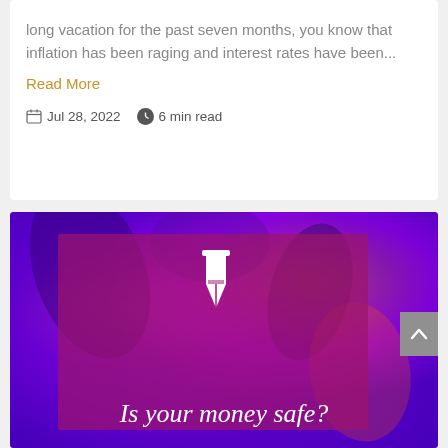long vacation for the past seven months, you know that inflation has been raging and interest rates have been...
Read More
Jul 28, 2022   6 min read
[Figure (illustration): A banner image with a psychedelic purple and pink background showing foliage. Over it is a semi-transparent dark magenta/purple rectangle overlay. A white fountain pen nib icon sits at the top of the overlay. At the bottom of the overlay, italic white text reads 'Is your money safe?'. A grey scroll-to-top button with an upward chevron is on the right edge.]